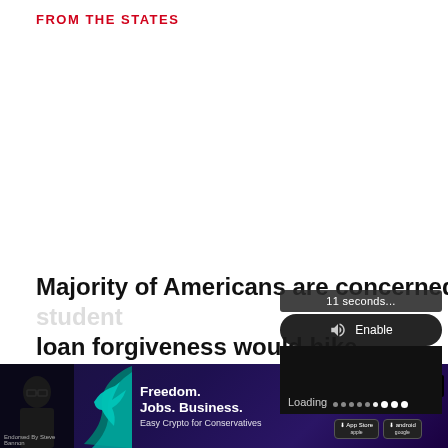FROM THE STATES
Majority of Americans are concerned Biden's student loan forgiveness would hike...
FROM THE STATES
[Figure (screenshot): Video player overlay showing '11 seconds...' timer, an Enable audio button with speaker icon, a black video player body with Loading text and animated dots progress indicator]
[Figure (photo): Advertisement banner for a crypto/conservative app: Freedom. Jobs. Business. Easy Crypto for Conservatives. Download on iOS and Android. Shows person silhouette and teal logo bird shape. X (Twitter) icon visible. Endorsed by Steve Bannon text at bottom.]